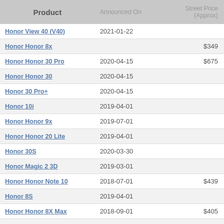| Product | Announced On | Street Price (Approx) |
| --- | --- | --- |
| Honor View 40 (V40) | 2021-01-22 |  |
| Honor Honor 8x |  | $349 |
| Honor Honor 30 Pro | 2020-04-15 | $675 |
| Honor Honor 30 | 2020-04-15 |  |
| Honor 30 Pro+ | 2020-04-15 |  |
| Honor 10i | 2019-04-01 |  |
| Honor Honor 9x | 2019-07-01 |  |
| Honor Honor 20 Lite | 2019-04-01 |  |
| Honor 30S | 2020-03-30 |  |
| Honor Magic 2 3D | 2019-03-01 |  |
| Honor Honor Note 10 | 2018-07-01 | $439 |
| Honor 8S | 2019-04-01 |  |
| Honor Honor 8X Max | 2018-09-01 | $405 |
| Honor View 20 | 2018-12-01 | $590 |
| Honor Honor Magic 2 | 2018-10-01 | $645 |